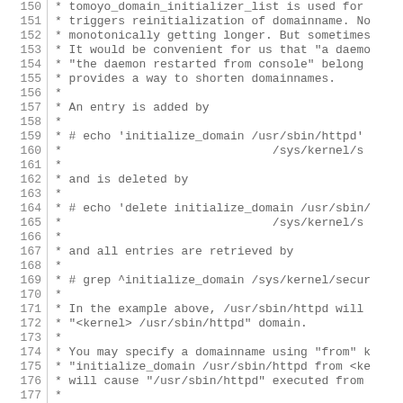Source code listing, lines 150-176+, showing C comment block about tomoyo_domain_initializer_list usage, domain reinitialization, and domain name initialization/deletion/retrieval commands.